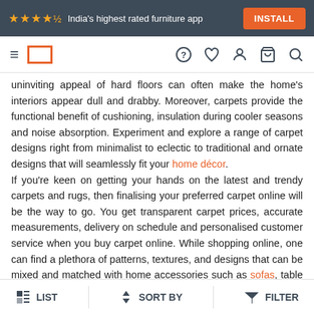★★★★½ India's highest rated furniture app  INSTALL
[Figure (screenshot): Navigation bar with hamburger menu, Urban Ladder logo box, and icons for help, wishlist, account, cart, and search]
uninviting appeal of hard floors can often make the home's interiors appear dull and drabby. Moreover, carpets provide the functional benefit of cushioning, insulation during cooler seasons and noise absorption. Experiment and explore a range of carpet designs right from minimalist to eclectic to traditional and ornate designs that will seamlessly fit your home décor.
If you're keen on getting your hands on the latest and trendy carpets and rugs, then finalising your preferred carpet online will be the way to go. You get transparent carpet prices, accurate measurements, delivery on schedule and personalised customer service when you buy carpet online. While shopping online, one can find a plethora of patterns, textures, and designs that can be mixed and matched with home accessories such as sofas, table lamps, cushion covers, among many others. Urban Ladder's catalogue of home carpet design online
LIST   SORT BY   FILTER